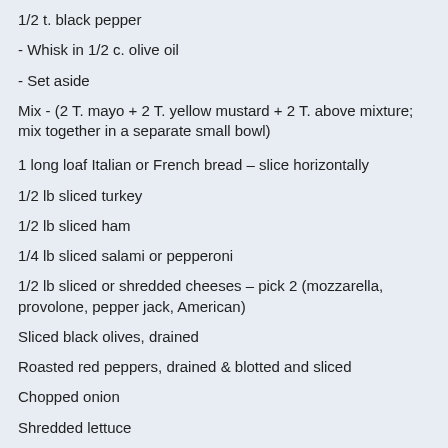1/2 t. black pepper
- Whisk in 1/2 c. olive oil
- Set aside
Mix - (2 T. mayo + 2 T. yellow mustard + 2 T. above mixture; mix together in a separate small bowl)
1 long loaf Italian or French bread – slice horizontally
1/2 lb sliced turkey
1/2 lb sliced ham
1/4 lb sliced salami or pepperoni
1/2 lb sliced or shredded cheeses – pick 2 (mozzarella, provolone, pepper jack, American)
Sliced black olives, drained
Roasted red peppers, drained & blotted and sliced
Chopped onion
Shredded lettuce
Tomatoes